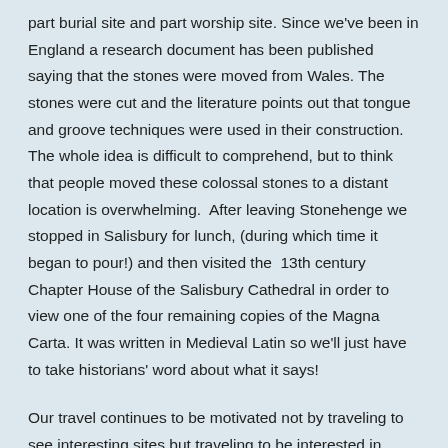part burial site and part worship site. Since we've been in England a research document has been published saying that the stones were moved from Wales. The stones were cut and the literature points out that tongue and groove techniques were used in their construction.  The whole idea is difficult to comprehend, but to think that people moved these colossal stones to a distant location is overwhelming.  After leaving Stonehenge we stopped in Salisbury for lunch, (during which time it began to pour!) and then visited the  13th century Chapter House of the Salisbury Cathedral in order to view one of the four remaining copies of the Magna Carta. It was written in Medieval Latin so we'll just have to take historians' word about what it says!
Our travel continues to be motivated not by traveling to see interesting sites but traveling to be interested in whatever we see. That being said, this has been a